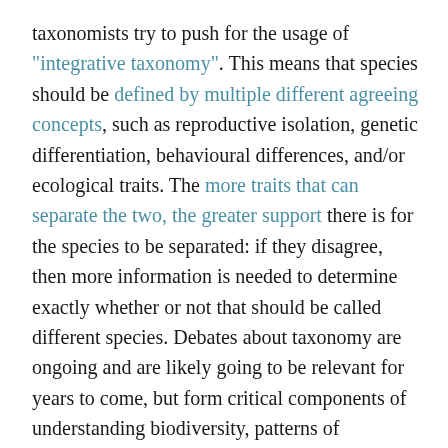taxonomists try to push for the usage of "integrative taxonomy". This means that species should be defined by multiple different agreeing concepts, such as reproductive isolation, genetic differentiation, behavioural differences, and/or ecological traits. The more traits that can separate the two, the greater support there is for the species to be separated: if they disagree, then more information is needed to determine exactly whether or not that should be called different species. Debates about taxonomy are ongoing and are likely going to be relevant for years to come, but form critical components of understanding biodiversity, patterns of evolution, and creating effective conservation legislation to protect endangered or threatened species (for whichever groups we decide are species).